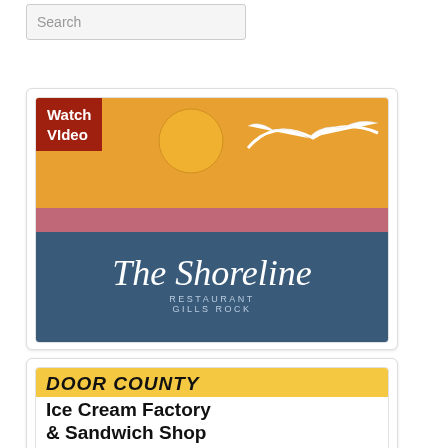[Figure (screenshot): Search bar with 'Search' placeholder text]
[Figure (logo): The Shoreline Restaurant Gills Rock logo with Watch Video badge, orange sun, seagull, and blue water scene]
[Figure (logo): Door County Ice Cream Factory & Sandwich Shop logo with yellow header and building illustration]
[Figure (logo): Alpine Resort & Golf Course - The Hof Restaurant logo in blue and gold]